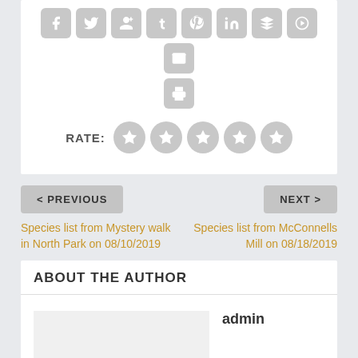[Figure (other): Social sharing icon buttons row: facebook, twitter, google+, tumblr, pinterest, linkedin, buffer, stumbleupon, email icons in rounded square gray buttons]
[Figure (other): Print icon in a rounded square gray button]
RATE:
[Figure (other): Five gray star rating circles]
< PREVIOUS
Species list from Mystery walk in North Park on 08/10/2019
NEXT >
Species list from McConnells Mill on 08/18/2019
ABOUT THE AUTHOR
admin